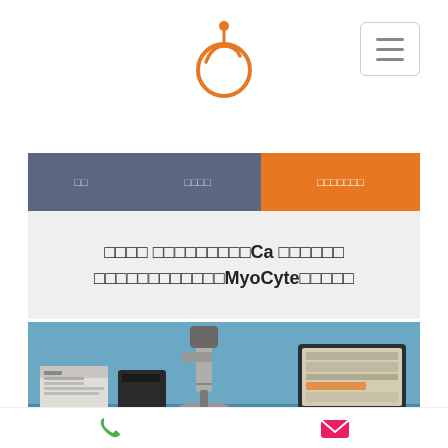[Figure (logo): Orange circular logo with a small orange dot on top, resembling a fruit with a wire coil, in orange color. Positioned at top center.]
□□  □□□□  □□□□□□□
□□□□ □□□□□□□□□Ca □□□□□□ □□□□□□□□□□□□MyoCyte□□□□□
[Figure (photo): Laboratory microscopy setup on a blue background: inverted microscope in the center, computer monitor on the right showing software interface, electronic control units and black box equipment on the left, keyboard in front.]
phone  email